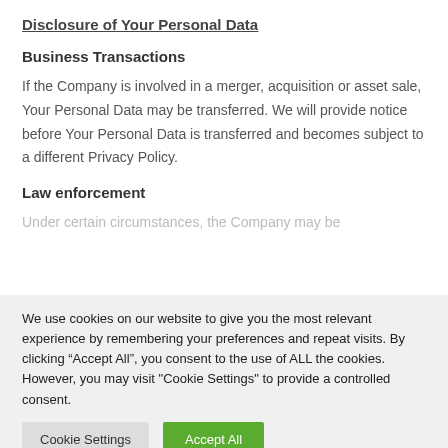Disclosure of Your Personal Data
Business Transactions
If the Company is involved in a merger, acquisition or asset sale, Your Personal Data may be transferred. We will provide notice before Your Personal Data is transferred and becomes subject to a different Privacy Policy.
Law enforcement
Under certain circumstances, the Company may be...
We use cookies on our website to give you the most relevant experience by remembering your preferences and repeat visits. By clicking “Accept All”, you consent to the use of ALL the cookies. However, you may visit "Cookie Settings" to provide a controlled consent.